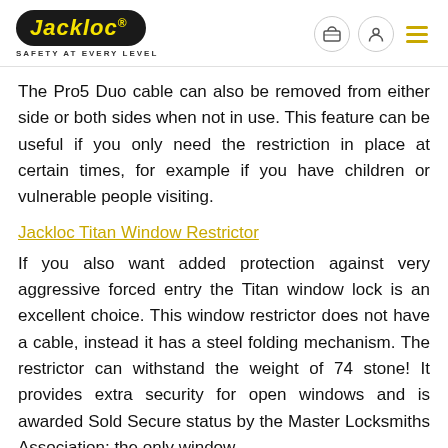JACKLOC® | SAFETY AT EVERY LEVEL
The Pro5 Duo cable can also be removed from either side or both sides when not in use. This feature can be useful if you only need the restriction in place at certain times, for example if you have children or vulnerable people visiting.
Jackloc Titan Window Restrictor
If you also want added protection against very aggressive forced entry the Titan window lock is an excellent choice. This window restrictor does not have a cable, instead it has a steel folding mechanism. The restrictor can withstand the weight of 74 stone! It provides extra security for open windows and is awarded Sold Secure status by the Master Locksmiths Association; the only window